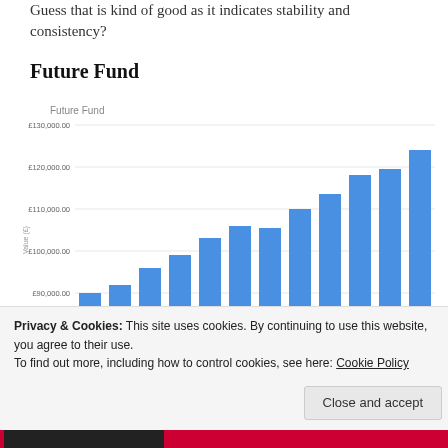Guess that is kind of good as it indicates stability and consistency?
Future Fund
[Figure (bar-chart): Future Fund]
Privacy & Cookies: This site uses cookies. By continuing to use this website, you agree to their use.
To find out more, including how to control cookies, see here: Cookie Policy